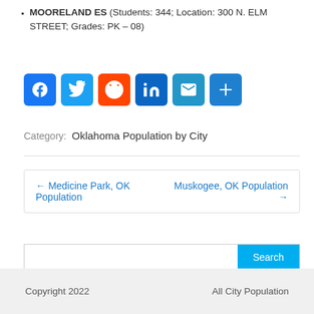MOORELAND ES (Students: 344; Location: 300 N. ELM STREET; Grades: PK – 08)
[Figure (infographic): Social media share buttons: Facebook, Twitter, Reddit, LinkedIn, Email, More (+)]
Category: Oklahoma Population by City
← Medicine Park, OK Population   Muskogee, OK Population →
Copyright 2022   All City Population